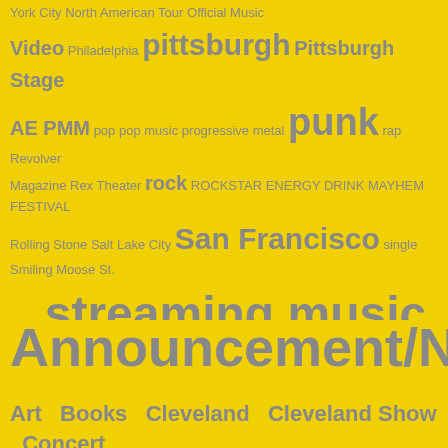York City North American Tour Official Music Video Philadelphia pittsburgh Pittsburgh Stage AE PMM pop pop music progressive metal punk rap Revolver Magazine Rex Theater rock ROCKSTAR ENERGY DRINK MAYHEM FESTIVAL Rolling Stone Salt Lake City San Francisco single Smiling Moose St. Louis streaming music Texas Twitter United States video www youtube YOUTUBE
Announcement/New
Art  Books  Cleveland  Cleveland Show  Concert Review  Contest  Editorial  Event  Free Music